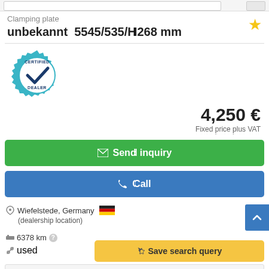Clamping plate
unbekannt  5545/535/H268 mm
[Figure (logo): Certified Dealer badge — teal gear with checkmark and text CERTIFIED DEALER]
4,250 €
Fixed price plus VAT
Send inquiry
Call
Wiefelstede, Germany
(dealership location)
6378 km
used
Save search query